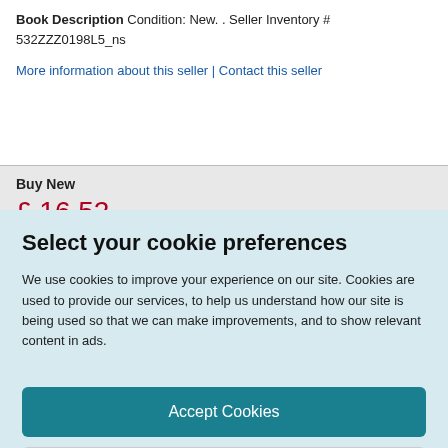Book Description Condition: New. . Seller Inventory # 532ZZZ0198L5_ns
More information about this seller | Contact this seller
Buy New
£ 16.52
Select your cookie preferences
We use cookies to improve your experience on our site. Cookies are used to provide our services, to help us understand how our site is being used so that we can make improvements, and to show relevant content in ads.
Accept Cookies
Customise Cookies